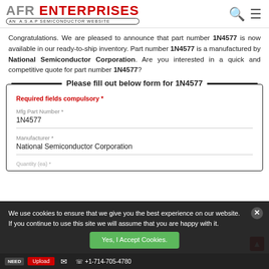AFR ENTERPRISES - AN A.S.A.P SEMICONDUCTOR WEBSITE
Congratulations. We are pleased to announce that part number 1N4577 is now available in our ready-to-ship inventory. Part number 1N4577 is a manufactured by National Semiconductor Corporation. Are you interested in a quick and competitive quote for part number 1N4577?
Please fill out below form for 1N4577
Required fields compulsory *
Mfg Part Number *
1N4577
Manufacturer *
National Semiconductor Corporation
Quantity (ea) *
We use cookies to ensure that we give you the best experience on our website. If you continue to use this site we will assume that you are happy with it.
Yes, I Accept Cookies.